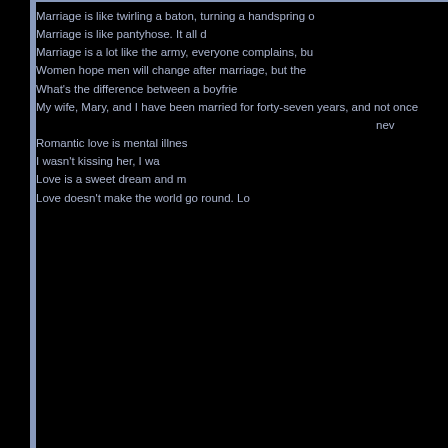Marriage is like twirling a baton, turning a handspring o...
Marriage is like pantyhose. It all d...
Marriage is a lot like the army, everyone complains, bu...
Women hope men will change after marriage, but the...
What's the difference between a boyfrie...
My wife, Mary, and I have been married for forty-seven years, and not once...
ne...
Romantic love is mental illnes...
I wasn't kissing her, I wa...
Love is a sweet dream and m...
Love doesn't make the world go round. Lo...
[Figure (illustration): Pixel art jukebox illustration in red, gold, and green colors]
[Figure (illustration): Small pixel art radio/boombox illustration]
Stumbleupon | Geezer Planet | The Free...